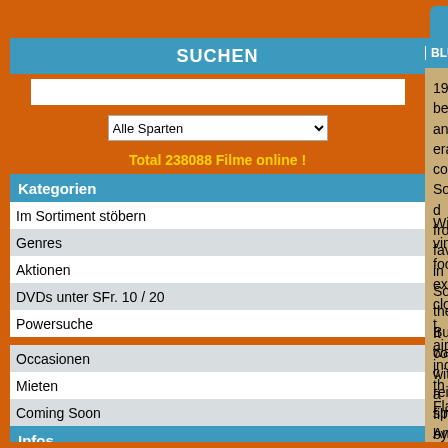HOME  FILME  HEIM & GARTEN  MUSIK
BLU-RAY | BLU-RAY 3D | UHD | Action | Sci-Fi | Thri
SUCHEN
Alle Sparten
Total 238088 Filme online !
Kategorien
Im Sortiment stöbern
Genres
Aktionen
DVDs unter SFr. 10 / 20
Powersuche
Occasionen
Mieten
Coming Soon
Infos
Mein Konto
Newsletter
Warenkorb
Meine Wunschliste
Kundenservice
1944 began an era completely Soviet d from favour in Sovie the Burea was c reinstatement, spe American F-86 'Sal service for more tha down the KAL 747 i
With vintage footage examines closely t aircraft including th Flanker.
It concludes with a filmed by a third pl most beautiful and a